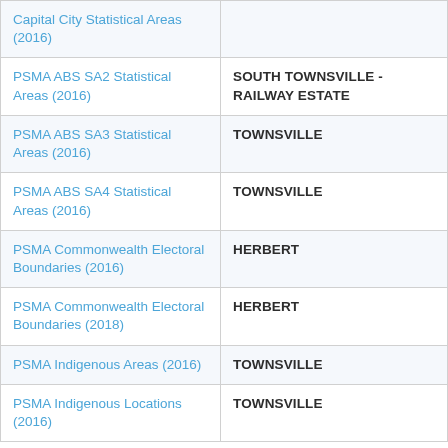| Capital City Statistical Areas (2016) |  |
| PSMA ABS SA2 Statistical Areas (2016) | SOUTH TOWNSVILLE - RAILWAY ESTATE |
| PSMA ABS SA3 Statistical Areas (2016) | TOWNSVILLE |
| PSMA ABS SA4 Statistical Areas (2016) | TOWNSVILLE |
| PSMA Commonwealth Electoral Boundaries (2016) | HERBERT |
| PSMA Commonwealth Electoral Boundaries (2018) | HERBERT |
| PSMA Indigenous Areas (2016) | TOWNSVILLE |
| PSMA Indigenous Locations (2016) | TOWNSVILLE |